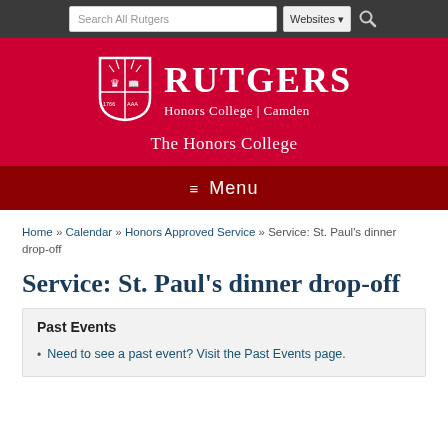[Figure (screenshot): Rutgers search bar with 'Search All Rutgers' input, 'Websites' dropdown, and search icon on dark grey background]
[Figure (logo): Rutgers Honors College | Camden logo with shield icon and white text on red background, with 'The Honors College' subtitle]
≡  Menu
Home » Calendar » Honors Approved Service » Service: St. Paul's dinner drop-off
Service: St. Paul's dinner drop-off
Past Events
Need to see a past event? Visit the Past Events page.